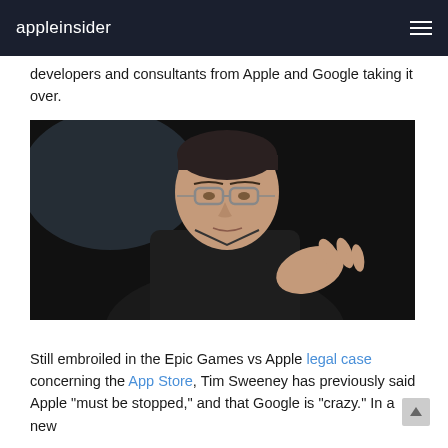appleinsider
developers and consultants from Apple and Google taking it over.
[Figure (photo): Tim Sweeney, CEO of Epic Games, wearing glasses and a black jacket, gesturing with his hands during a speaking engagement against a dark background.]
Still embroiled in the Epic Games vs Apple legal case concerning the App Store, Tim Sweeney has previously said Apple "must be stopped," and that Google is "crazy." In a new